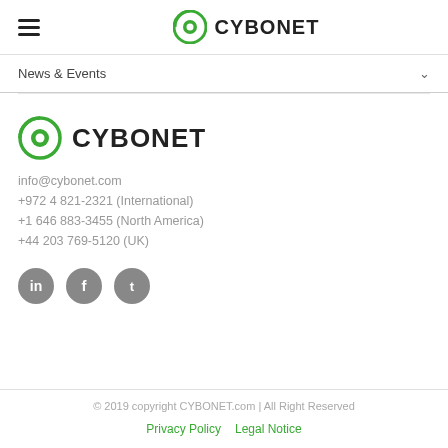CYBONET
News & Events
[Figure (logo): CYBONET logo with green C icon and bold black CYBONET text]
info@cybonet.com
+972 4 821-2321 (International)
+1 646 883-3455 (North America)
+44 203 769-5120 (UK)
[Figure (illustration): Three social media icons: LinkedIn, Facebook, Twitter in grey circles]
© 2019 copyright CYBONET.com | All Right Reserved
Privacy Policy   Legal Notice